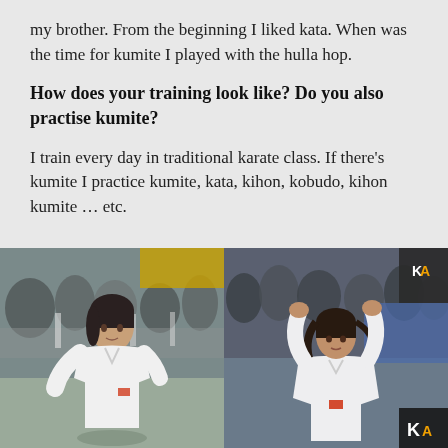my brother. From the beginning I liked kata. When was the time for kumite I played with the hulla hop.
How does your training look like? Do you also practise kumite?
I train every day in traditional karate class. If there's kumite I practice kumite, kata, kihon, kobudo, kihon kumite … etc.
[Figure (photo): Two side-by-side photos of a female karateka in a white gi performing kata at a competition, with audience in background.]